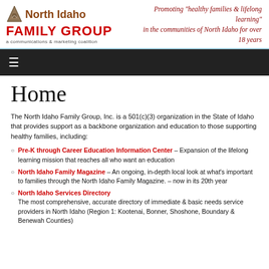[Figure (logo): North Idaho Family Group logo with triangle/mountain icon, 'North Idaho' in brown, 'FAMILY GROUP' in red bold, tagline 'a communications & marketing coalition']
Promoting "healthy families & lifelong learning" in the communities of North Idaho for over 18 years
Navigation menu bar with hamburger icon
Home
The North Idaho Family Group, Inc. is a 501(c)(3) organization in the State of Idaho that provides support as a backbone organization and education to those supporting healthy families, including:
Pre-K through Career Education Information Center – Expansion of the lifelong learning mission that reaches all who want an education
North Idaho Family Magazine – An ongoing, in-depth local look at what's important to families through the North Idaho Family Magazine. – now in its 20th year
North Idaho Services Directory – The most comprehensive, accurate directory of immediate & basic needs service providers in North Idaho (Region 1: Kootenai, Bonner, Shoshone, Boundary & Benewah Counties)